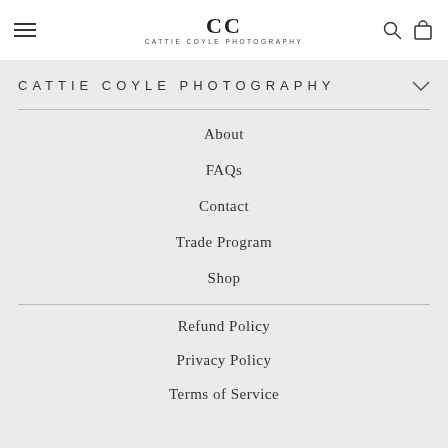CC CATTIE COYLE PHOTOGRAPHY [hamburger menu] [search icon] [cart icon]
CATTIE COYLE PHOTOGRAPHY
About
FAQs
Contact
Trade Program
Shop
Refund Policy
Privacy Policy
Terms of Service